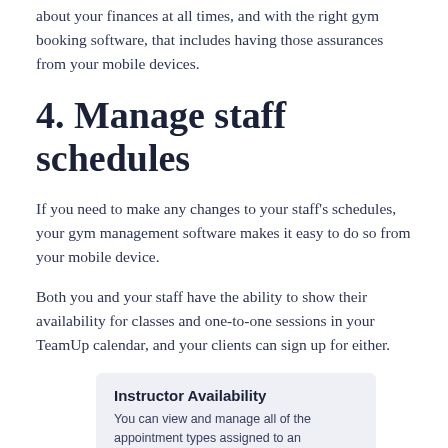about your finances at all times, and with the right gym booking software, that includes having those assurances from your mobile devices.
4. Manage staff schedules
If you need to make any changes to your staff's schedules, your gym management software makes it easy to do so from your mobile device.
Both you and your staff have the ability to show their availability for classes and one-to-one sessions in your TeamUp calendar, and your clients can sign up for either.
[Figure (screenshot): A UI widget showing 'Instructor Availability' with text: 'You can view and manage all of the appointment types assigned to an instructor's schedules and their availability.']